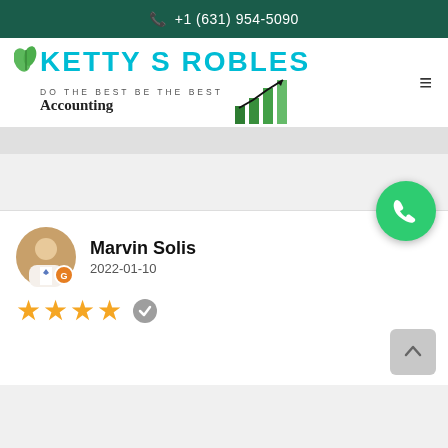+1 (631) 954-5090
[Figure (logo): Ketty S Robles Accounting logo with green leaves, teal text, bar chart growth icon, and tagline DO THE BEST BE THE BEST]
Marvin Solis
2022-01-10
★★★★ (4 stars with verified badge)